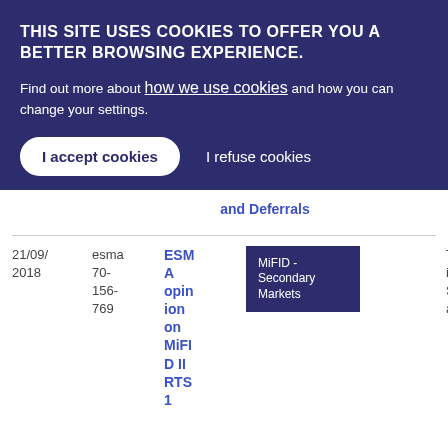THIS SITE USES COOKIES TO OFFER YOU A BETTER BROWSING EXPERIENCE.
Find out more about how we use cookies and how you can change your settings.
I accept cookies | I refuse cookies
and Deferrals
| Date | Reference | Title | Tag | Type | Download |
| --- | --- | --- | --- | --- | --- |
| 21/09/2018 | esma 70-156-769 | ESMA opinion on MiFID II RTS 1 | MiFID - Secondary Markets | Technical Standards | PDF 64 5.02 KB |